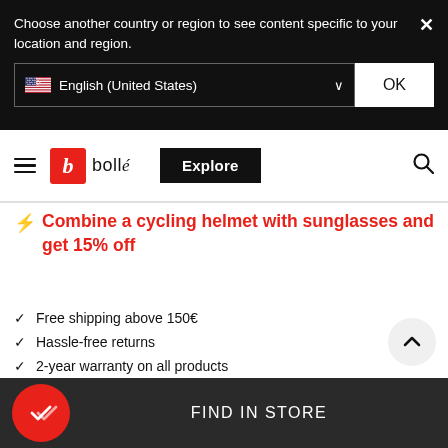Choose another country or region to see content specific to your location and region.
English (United States)
OK
[Figure (logo): Bollé brand logo with red square containing italic b and brand name]
Explore
⚡ Combine a cycling helmet with sunglasses and get 15% off
Free shipping above 150€
Hassle-free returns
2-year warranty on all products
Show Product Information
FIND IN STORE